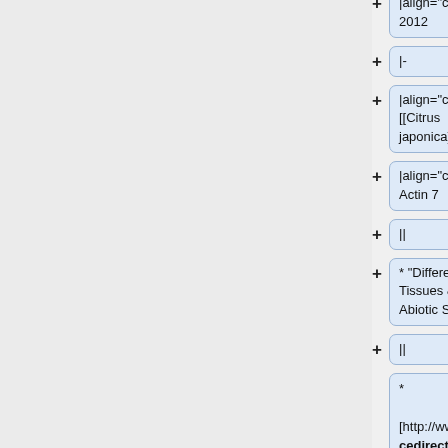|align="center"| 2012
|-
|align="center"| [[Citrus japonica]]
|align="center"| Actin 7
||
* "Different Tissues & Abiotic Stress"
||
* [http://www.sciencedirect.com/sc ience/article/pii/